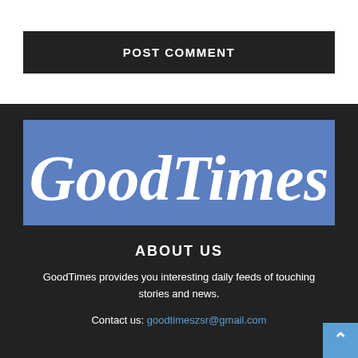POST COMMENT
[Figure (logo): GoodTimes logo: white italic script text on a blue background]
ABOUT US
GoodTimes provides you interesting daily feeds of touching stories and news.
Contact us: goodtimeszsr@gmail.com